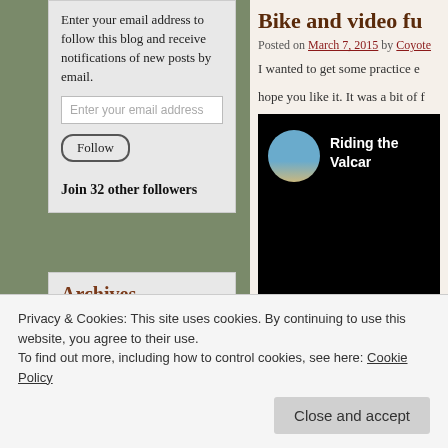Follow Blog via Email
Enter your email address to follow this blog and receive notifications of new posts by email.
Enter your email address
Follow
Join 32 other followers
Archives
September 2015
Bike and video fu
Posted on March 7, 2015 by Coyote
I wanted to get some practice e
hope you like it. It was a bit of f
[Figure (screenshot): Video thumbnail showing a circular avatar with a beach scene and text 'Riding the Valcan' on dark background]
Privacy & Cookies: This site uses cookies. By continuing to use this website, you agree to their use. To find out more, including how to control cookies, see here: Cookie Policy
Close and accept
December 2014